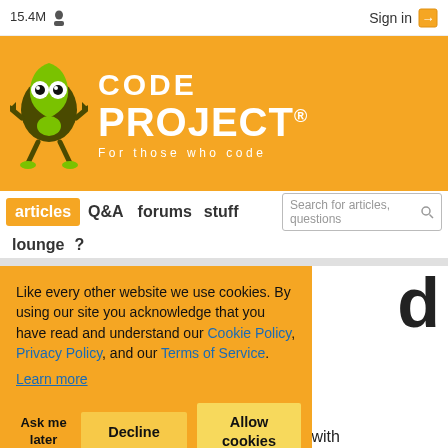15.4M  Sign in
[Figure (logo): CodeProject logo with green mascot character and orange background. Text reads CODE PROJECT® For those who code]
articles  Q&A  forums  stuff  lounge  ?
d
e:   5.00/5 (3 votes)
Like every other website we use cookies. By using our site you acknowledge that you have read and understand our Cookie Policy, Privacy Policy, and our Terms of Service. Learn more
Ask me later   Decline   Allow cookies
es that show
practical application of CORS architecture with